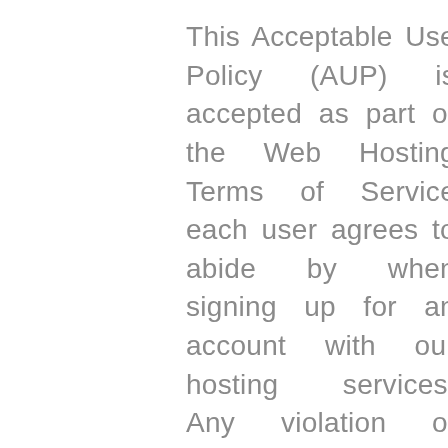This Acceptable Use Policy (AUP) is accepted as part of the Web Hosting Terms of Service each user agrees to abide by when signing up for an account with our hosting services. Any violation of these AUP terms will be considered as violation of our Web Hosting Terms of Service